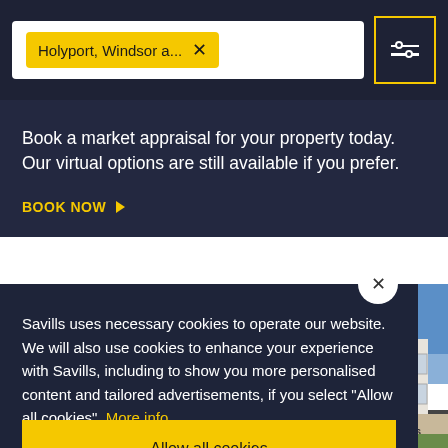[Figure (screenshot): Search bar with yellow tag 'Holyport, Windsor a...' and X button, plus yellow-bordered filter/sliders icon button on dark navy background]
Book a market appraisal for your property today. Our virtual options are still available if you prefer.
BOOK NOW ▶
Savills uses necessary cookies to operate our website. We will also use cookies to enhance your experience with Savills, including to show you more personalised content and tailored advertisements, if you select "Allow all cookies". More info.
Allow all cookies
[Figure (photo): Partial view of a white building with blue sky, property listing photo]
NEW   MANAGED BY SAVILLS   FURNISHED   1/7